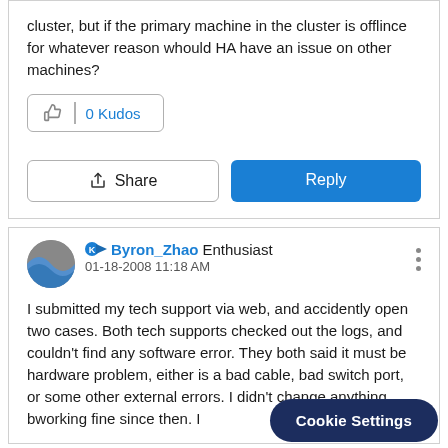cluster, but if the primary machine in the cluster is offlince for whatever reason whould HA have an issue on other machines?
0 Kudos
Share
Reply
Byron_Zhao  Enthusiast  01-18-2008 11:18 AM
I submitted my tech support via web, and accidently open two cases. Both tech supports checked out the logs, and couldn't find any software error. They both said it must be hardware problem, either is a bad cable, bad switch port, or some other external errors. I didn't change anything, b working fine since then. I
Cookie Settings